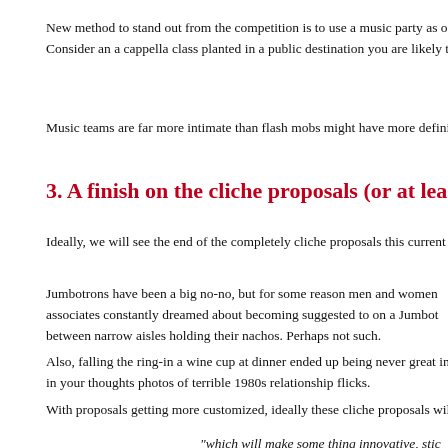New method to stand out from the competition is to use a music party as o... Consider an a cappella class planted in a public destination you are likely t...
Music teams are far more intimate than flash mobs might have more defini...
3. A finish on the cliche proposals (or at leas...
Ideally, we will see the end of the completely cliche proposals this current y...
Jumbotrons have been a big no-no, but for some reason men and women ... associates constantly dreamed about becoming suggested to on a Jumbot... between narrow aisles holding their nachos. Perhaps not such.
Also, falling the ring-in a wine cup at dinner ended up being never great in ... in your thoughts photos of terrible 1980s relationship flicks.
With proposals getting more customized, ideally these cliche proposals will...
“which will make some thing innovative, stic...
with aspects of the union.”